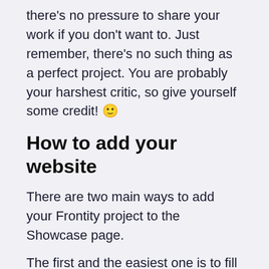there's no pressure to share your work if you don't want to. Just remember, there's no such thing as a perfect project. You are probably your harshest critic, so give yourself some credit! 🙂
How to add your website
There are two main ways to add your Frontity project to the Showcase page.
The first and the easiest one is to fill out this form with your site's information. That's it. We will review your submission and feature your project in the Showcase page.
Alternatively, you can share your project in the community forum. Simply go to the Showcase